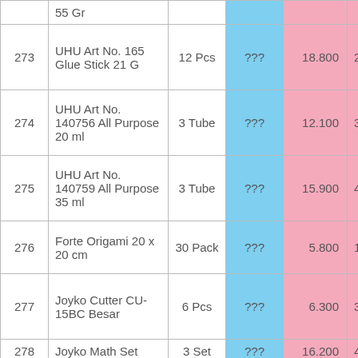| No | Item | Qty | Price | Unit Price | Total |
| --- | --- | --- | --- | --- | --- |
|  | 55 Gr |  |  |  |  |
| 273 | UHU Art No. 165 Glue Stick 21 G | 12 Pcs | ??? | 18.800 | 225 |
| 274 | UHU Art No. 140756 All Purpose 20 ml | 3 Tube | ??? | 12.100 | 36 |
| 275 | UHU Art No. 140759 All Purpose 35 ml | 3 Tube | ??? | 15.900 | 47 |
| 276 | Forte Origami 20 x 20 cm | 30 Pack | ??? | 5.800 | 174 |
| 277 | Joyko Cutter CU-15BC Besar | 6 Pcs | ??? | 6.300 | 37 |
| 278 | Joyko Math Set | 3 Set | ??? | 16.200 | 48 |